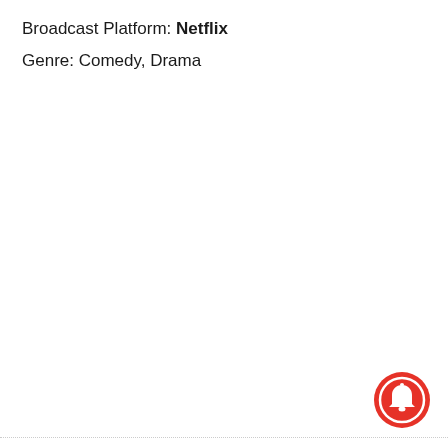Broadcast Platform: Netflix
Genre: Comedy, Drama
[Figure (illustration): Red circular notification bell button icon in bottom-right corner]